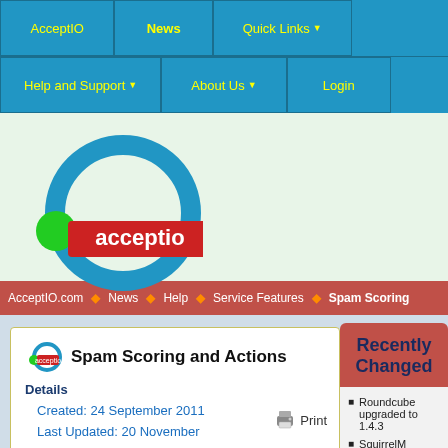AcceptIO | News | Quick Links | Help and Support | About Us | Login
[Figure (logo): AcceptIO logo with blue circle and green dot with red background text 'acceptio']
AcceptIO.com > News > Help > Service Features > Spam Scoring
Spam Scoring and Actions
Details
Created: 24 September 2011
Last Updated: 20 November
Print
Recently Changed
Roundcube upgraded to 1.4.3
SquirrelM